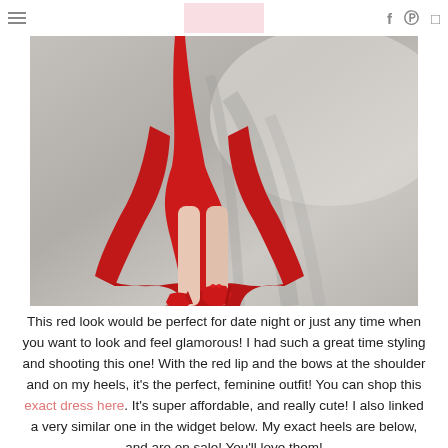Menu | [logo] | Facebook | Pinterest | Instagram
[Figure (photo): Lower half of a woman wearing a red dress with a flared hem and red high-heel pumps with bow detail, standing on a paved surface with tree shadows]
This red look would be perfect for date night or just any time when you want to look and feel glamorous! I had such a great time styling and shooting this one! With the red lip and the bows at the shoulder and on my heels, it's the perfect, feminine outfit! You can shop this exact dress here. It's super affordable, and really cute! I also linked a very similar one in the widget below. My exact heels are below, and are on sale! You'll love them!